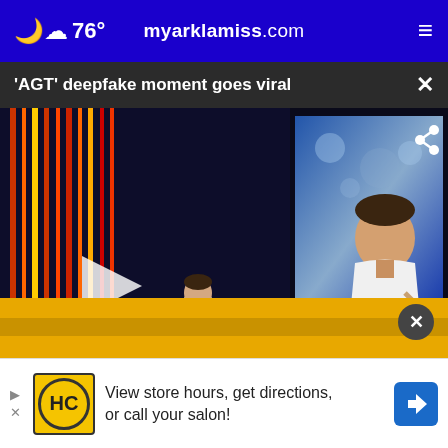76° myarklamiss.com
'AGT' deepfake moment goes viral
[Figure (screenshot): Video player showing AGT (America's Got Talent) clip with a man holding a microphone on stage, NBC logo visible, play button overlay and share icon]
[Figure (screenshot): Advertisement strip with gold/yellow background and a close button]
View store hours, get directions, or call your salon!